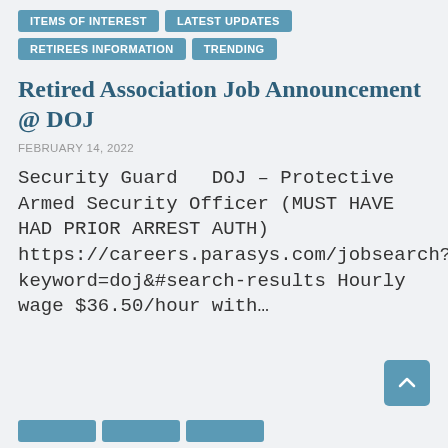ITEMS OF INTEREST | LATEST UPDATES | RETIREES INFORMATION | TRENDING
Retired Association Job Announcement @ DOJ
FEBRUARY 14, 2022
Security Guard   DOJ – Protective Armed Security Officer (MUST HAVE HAD PRIOR ARREST AUTH) https://careers.parasys.com/jobsearch?keyword=doj&#search-results Hourly wage $36.50/hour with…